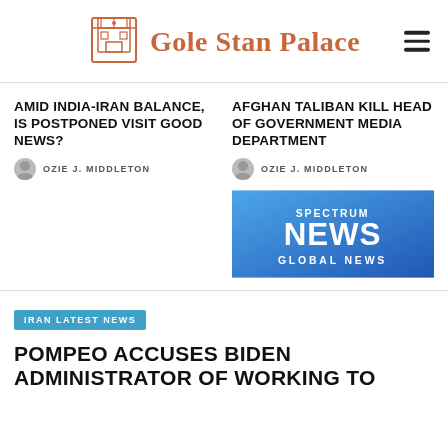Gole Stan Palace
AMID INDIA-IRAN BALANCE, IS POSTPONED VISIT GOOD NEWS?
OZIE J. MIDDLETON
AFGHAN TALIBAN KILL HEAD OF GOVERNMENT MEDIA DEPARTMENT
OZIE J. MIDDLETON
[Figure (logo): Spectrum News Global News logo on blue gradient background]
IRAN LATEST NEWS
POMPEO ACCUSES BIDEN ADMINISTRATOR OF WORKING TO